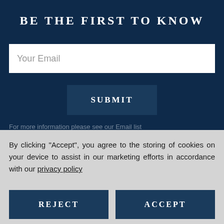BE THE FIRST TO KNOW
Your Email
SUBMIT
By clicking "Accept", you agree to the storing of cookies on your device to assist in our marketing efforts in accordance with our privacy policy
REJECT
ACCEPT